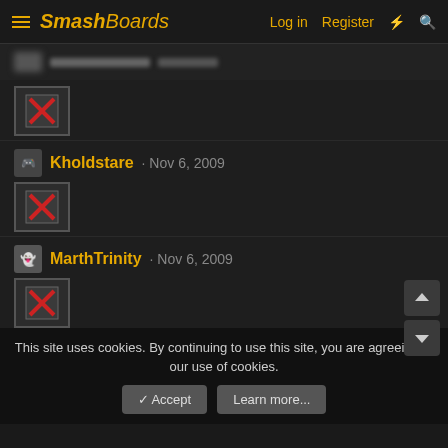SmashBoards — Log in  Register
Kholdstare · Nov 6, 2009
[Figure (other): Broken image placeholder with red X]
MarthTrinity · Nov 6, 2009
[Figure (other): Broken image placeholder with red X]
livan · Oct 22, 2009
Hi Twilthero im happy and honored for be friends lol !

I hope you are fine.
This site uses cookies. By continuing to use this site, you are agreeing to our use of cookies.